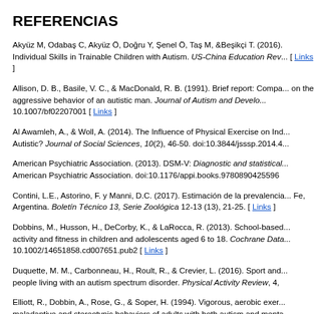REFERENCIAS
Akyüz M, Odabaş C, Akyüz Ö, Doğru Y, Şenel Ö, Taş M, &Beşikçi T. (2016). Individual Skills in Trainable Children with Autism. US-China Education Rev... [ Links ]
Allison, D. B., Basile, V. C., & MacDonald, R. B. (1991). Brief report: Compa... on the aggressive behavior of an autistic man. Journal of Autism and Develo... 10.1007/bf02207001 [ Links ]
Al Awamleh, A., & Woll, A. (2014). The Influence of Physical Exercise on Ind... Autistic? Journal of Social Sciences, 10(2), 46-50. doi:10.3844/jsssp.2014.4...
American Psychiatric Association. (2013). DSM-V: Diagnostic and statistical... American Psychiatric Association. doi:10.1176/appi.books.9780890425596
Contini, L.E., Astorino, F. y Manni, D.C. (2017). Estimación de la prevalencia... Fe, Argentina. Boletín Técnico 13, Serie Zoológica 12-13 (13), 21-25. [ Links ]
Dobbins, M., Husson, H., DeCorby, K., & LaRocca, R. (2013). School-based... activity and fitness in children and adolescents aged 6 to 18. Cochrane Data... 10.1002/14651858.cd007651.pub2 [ Links ]
Duquette, M. M., Carbonneau, H., Roult, R., & Crevier, L. (2016). Sport and... people living with an autism spectrum disorder. Physical Activity Review, 4,
Elliott, R., Dobbin, A., Rose, G., & Soper, H. (1994). Vigorous, aerobic exer... maladaptive and stereotypic behaviors of adults with both autism and menta...